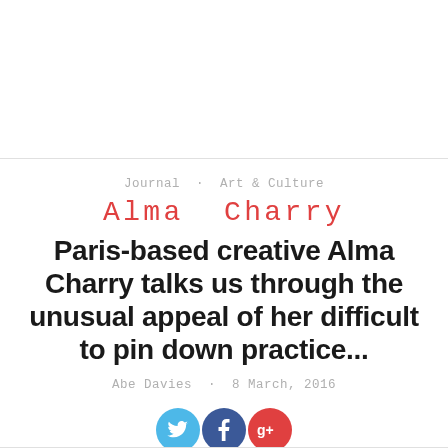Journal · Art & Culture
Alma Charry
Paris-based creative Alma Charry talks us through the unusual appeal of her difficult to pin down practice...
Abe Davies · 8 March, 2016
[Figure (illustration): Social media share icons: Twitter (blue circle), Facebook (dark blue circle), Google+ (red circle)]